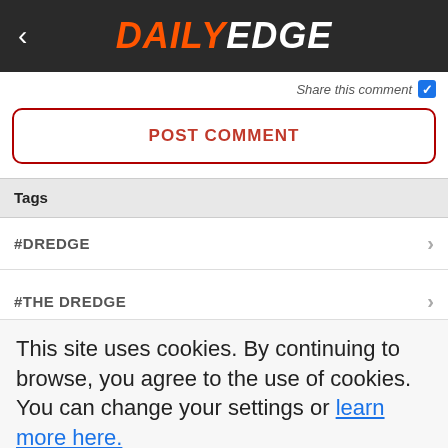DAILY EDGE
Share this comment
POST COMMENT
Tags
#DREDGE
#THE DREDGE
This site uses cookies. By continuing to browse, you agree to the use of cookies. You can change your settings or learn more here.